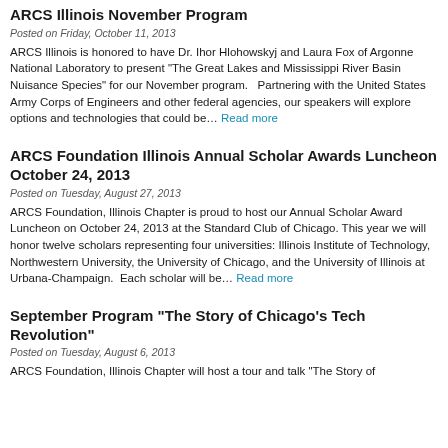ARCS Illinois November Program
Posted on Friday, October 11, 2013
ARCS Illinois is honored to have Dr. Ihor Hlohowskyj and Laura Fox of Argonne National Laboratory to present "The Great Lakes and Mississippi River Basin Nuisance Species" for our November program.   Partnering with the United States Army Corps of Engineers and other federal agencies, our speakers will explore options and technologies that could be… Read more
ARCS Foundation Illinois Annual Scholar Awards Luncheon October 24, 2013
Posted on Tuesday, August 27, 2013
ARCS Foundation, Illinois Chapter is proud to host our Annual Scholar Award Luncheon on October 24, 2013 at the Standard Club of Chicago. This year we will honor twelve scholars representing four universities: Illinois Institute of Technology, Northwestern University, the University of Chicago, and the University of Illinois at Urbana-Champaign.  Each scholar will be… Read more
September Program "The Story of Chicago's Tech Revolution"
Posted on Tuesday, August 6, 2013
ARCS Foundation, Illinois Chapter will host a tour and talk "The Story of